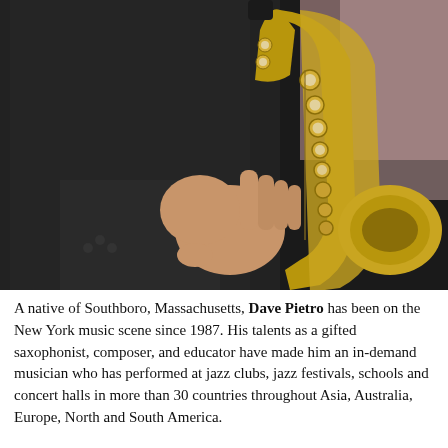[Figure (photo): Close-up photo of a person in a dark suit holding a brass saxophone, fingers on the keys. Dark background on the left, pinkish-grey background on the upper right.]
A native of Southboro, Massachusetts, Dave Pietro has been on the New York music scene since 1987. His talents as a gifted saxophonist, composer, and educator have made him an in-demand musician who has performed at jazz clubs, jazz festivals, schools and concert halls in more than 30 countries throughout Asia, Australia, Europe, North and South America.